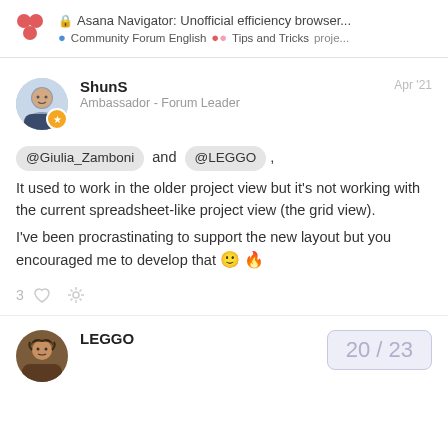🔒 Asana Navigator: Unofficial efficiency browser... • Community Forum English 🔵 • Tips and Tricks 🔴 proje...
ShunS
Ambassador - Forum Leader
Apr '21
@Giulia_Zamboni and @LEGGO ,
It used to work in the older project view but it's not working with the current spreadsheet-like project view (the grid view).
I've been procrastinating to support the new layout but you encouraged me to develop that 🙂 🔥
3
LEGGO
20 / 23